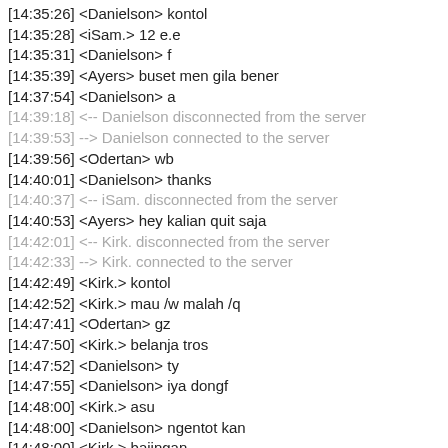[14:35:26] <Danielson> kontol
[14:35:28] <iSam.> 12 e.e
[14:35:31] <Danielson> f
[14:35:39] <Ayers> buset men gila bener
[14:37:54] <Danielson> a
[14:39:18] <-- Danielson disconnected from the server
[14:39:53] --> Danielson connected to the server
[14:39:56] <Odertan> wb
[14:40:01] <Danielson> thanks
[14:40:37] <-- iSam. disconnected from the server
[14:40:53] <Ayers> hey kalian quit saja
[14:42:01] <-- Kirk. disconnected from the server
[14:42:33] --> Kirk. connected to the server
[14:42:49] <Kirk.> kontol
[14:42:52] <Kirk.> mau /w malah /q
[14:47:41] <Odertan> gz
[14:47:50] <Kirk.> belanja tros
[14:47:52] <Danielson> ty
[14:47:55] <Danielson> iya dongf
[14:48:00] <Kirk.> asu
[14:48:00] <Danielson> ngentot kan
[14:48:00] <Kirk.> bajingan
[14:48:03] <Ayers> kontol emg firza anjing
[14:48:03] <Kirk.> kontol
[14:48:03] <UpnormalTebet> BAGI ANJING